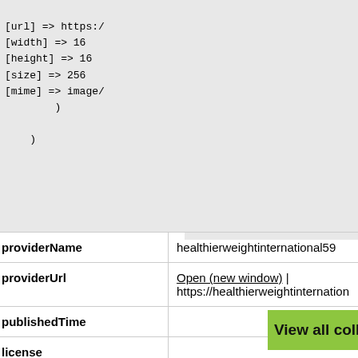[Figure (screenshot): Code block showing array properties: [url] => https://, [width] => 16, [height] => 16, [size] => 256, [mime] => image/, closing parenthesis and outer closing parenthesis]
| Field | Value |
| --- | --- |
| providerName | healthierweightinternational59 |
| providerUrl | Open (new window) | https://healthierweightinternation |
| publishedTime |  |
| license |  |
View all collected data